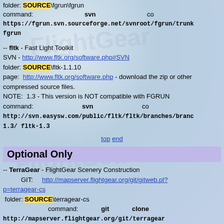folder: SOURCE\fgrun\fgrun
command:    svn    co
https://fgrun.svn.sourceforge.net/svnroot/fgrun/trunk fgrun
-- fltk - Fast Light Toolkit
SVN - http://www.fltk.org/software.php#SVN
folder: SOURCE\fltk-1.1.10
page: http://www.fltk.org/software.php - download the zip or other compressed source files.
NOTE: 1.3 - This version is NOT compatible with FGRUN
command:    svn    co
http://svn.easysw.com/public/fltk/fltk/branches/branch_1.3/ fltk-1.3
top end
Optional Only
-- TerraGear - FlightGear Scenery Construction
GIT:    http://mapserver.flightgear.org/git/gitweb.pl?p=terragear-cs
folder: SOURCE\terragear-cs
command:    git    clone
http://mapserver.flightgear.org/git/terragear...